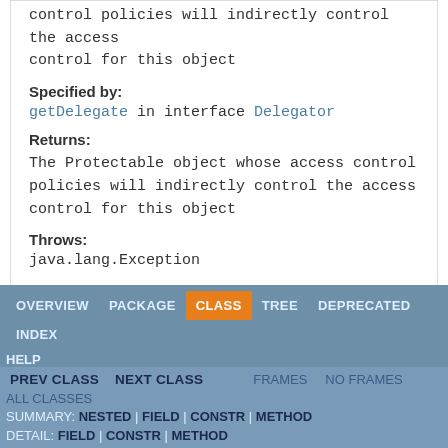control policies will indirectly control the access control for this object
Specified by:
getDelegate in interface Delegator
Returns:
The Protectable object whose access control policies will indirectly control the access control for this object
Throws:
java.lang.Exception
OVERVIEW | PACKAGE | CLASS | TREE | DEPRECATED | INDEX
HELP
PREV CLASS NEXT CLASS FRAMES NO FRAMES
ALL CLASSES
SUMMARY: NESTED | FIELD | CONSTR | METHOD
DETAIL: FIELD | CONSTR | METHOD